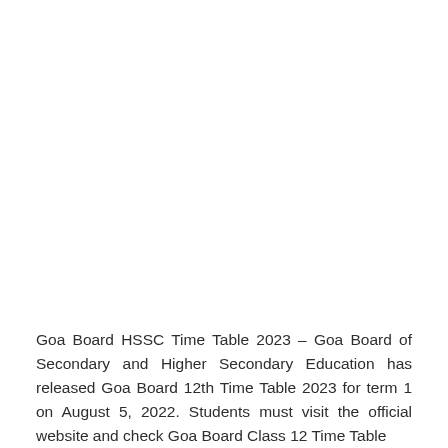Goa Board HSSC Time Table 2023 – Goa Board of Secondary and Higher Secondary Education has released Goa Board 12th Time Table 2023 for term 1 on August 5, 2022. Students must visit the official website and check Goa Board Class 12 Time Table